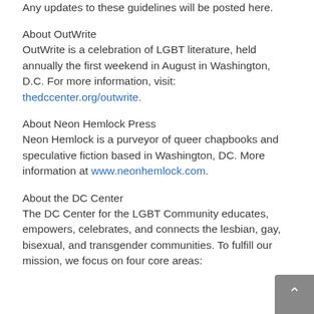Any updates to these guidelines will be posted here.
About OutWrite
OutWrite is a celebration of LGBT literature, held annually the first weekend in August in Washington, D.C. For more information, visit: thedccenter.org/outwrite.
About Neon Hemlock Press
Neon Hemlock is a purveyor of queer chapbooks and speculative fiction based in Washington, DC. More information at www.neonhemlock.com.
About the DC Center
The DC Center for the LGBT Community educates, empowers, celebrates, and connects the lesbian, gay, bisexual, and transgender communities. To fulfill our mission, we focus on four core areas: